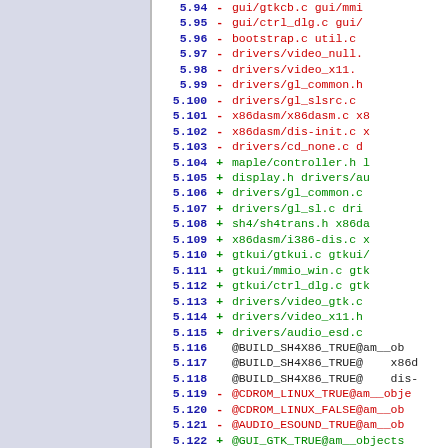Diff listing rows 5.94–5.123 showing removed (-) and added (+) lines in a software patch/diff view, with line numbers in blue, operators in red/green, and code content in corresponding colors.